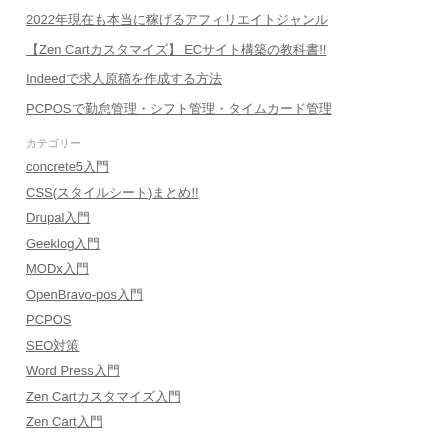2022年現在も本当に稼げるアフィリエイトジャンル
【Zen Cartカスタマイズ】 ECサイト構築の教科書!!
Indeedで求人原稿を作成する方法
PCPOSで勤怠管理・シフト管理・タイムカード管理
カテゴリー
concrete5入門
CSS(スタイルシート)まとめ!!
Drupal入門
Geeklog入門
MODx入門
OpenBravo-pos入門
PCPOS
SEO対策
Word Press入門
Zen Cartカスタマイズ入門
Zen Cart入門